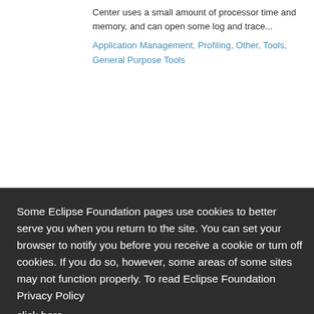Center uses a small amount of processor time and memory, and can open some log and trace...
Application Management, Profiling, Other, Tools, General Purpose Tools
Some Eclipse Foundation pages use cookies to better serve you when you return to the site. You can set your browser to notify you before you receive a cookie or turn off cookies. If you do so, however, some areas of some sites may not function properly. To read Eclipse Foundation Privacy Policy
click here.
Decline
Allow cookies
Analyzer